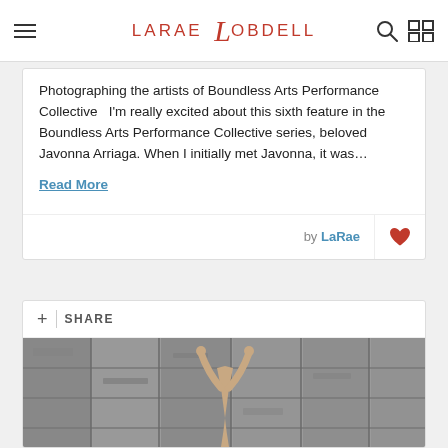LARAE LOBDELL
Photographing the artists of Boundless Arts Performance Collective   I'm really excited about this sixth feature in the Boundless Arts Performance Collective series, beloved Javonna Arriaga. When I initially met Javonna, it was…
Read More
by LaRae
+ | SHARE
[Figure (photo): Photograph of a person with arms raised against a weathered stone wall, taken by LaRae Lobdell for the Boundless Arts Performance Collective series.]